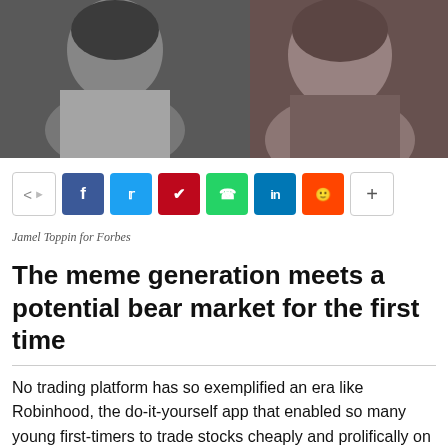[Figure (photo): Black and white photo of two people, with reddish color tones on the right side]
[Figure (infographic): Social sharing bar with icons: share, Facebook, Twitter, Pinterest, WhatsApp, LinkedIn, Reddit, plus button]
Jamel Toppin for Forbes
The meme generation meets a potential bear market for the first time
No trading platform has so exemplified an era like Robinhood, the do-it-yourself app that enabled so many young first-timers to trade stocks cheaply and prolifically on their phones. The company married gaming with investing in a colorful package